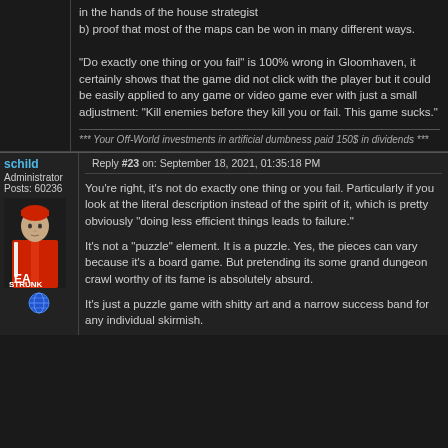in the hands of the house strategist
b) proof that most of the maps can be won in many different ways.

"Do exactly one thing or you fail" is 100% wrong in Gloomhaven, it certainly shows that the game did not click with the player but it could be easily applied to any game or video game ever with just a small adjustment: "Kill enemies before they kill you or fail. This game sucks."
*** Your Off-World investments in artificial dumbness paid 150$ in dividends ***
schild
Administrator
Posts: 60236
Reply #23 on: September 18, 2021, 01:35:18 PM
You're right, it's not do exactly one thing or you fail. Particularly if you look at the literal description instead of the spirit of it, which is pretty obviously "doing less efficient things leads to failure."

It's not a "puzzle" element. It is a puzzle. Yes, the pieces can vary because it's a board game. But pretending its some grand dungeon crawl worthy of its fame is absolutely absurd.
It's just a puzzle game with shitty art and a narrow success band for any individual skirmish.